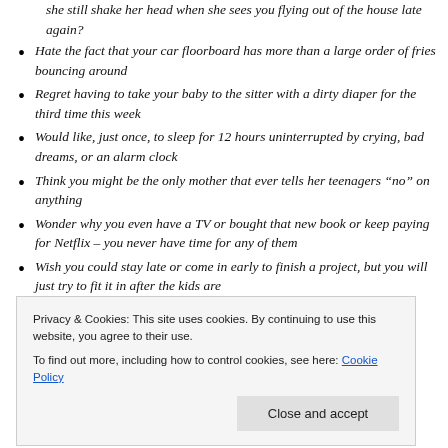she still shake her head when she sees you flying out of the house late again?
Hate the fact that your car floorboard has more than a large order of fries bouncing around
Regret having to take your baby to the sitter with a dirty diaper for the third time this week
Would like, just once, to sleep for 12 hours uninterrupted by crying, bad dreams, or an alarm clock
Think you might be the only mother that ever tells her teenagers “no” on anything
Wonder why you even have a TV or bought that new book or keep paying for Netflix – you never have time for any of them
Wish you could stay late or come in early to finish a project, but you will just try to fit it in after the kids are
Privacy & Cookies: This site uses cookies. By continuing to use this website, you agree to their use.
To find out more, including how to control cookies, see here: Cookie Policy
Wish that men shared more of the burden, cared more for